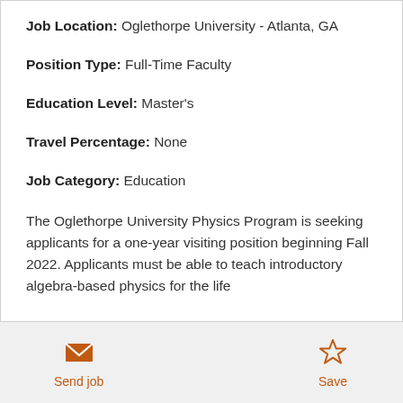Job Location: Oglethorpe University - Atlanta, GA
Position Type: Full-Time Faculty
Education Level: Master's
Travel Percentage: None
Job Category: Education
The Oglethorpe University Physics Program is seeking applicants for a one-year visiting position beginning Fall 2022. Applicants must be able to teach introductory algebra-based physics for the life
Send job  Save